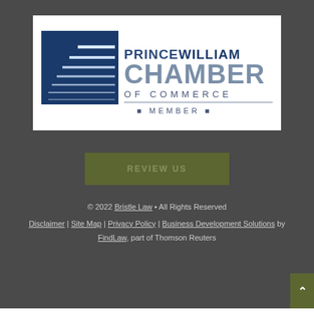[Figure (logo): Prince William Chamber of Commerce Member logo with blue square building graphic and text]
REVIEW US
© 2022 Bristle Law • All Rights Reserved
Disclaimer | Site Map | Privacy Policy | Business Development Solutions by FindLaw, part of Thomson Reuters